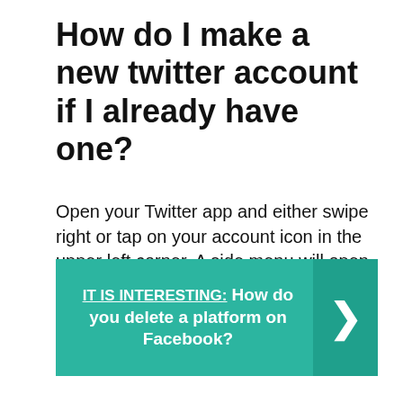How do I make a new twitter account if I already have one?
Open your Twitter app and either swipe right or tap on your account icon in the upper left corner. A side menu will open. Tap on the small down-facing arrow next to your name. Tap on “Add an existing account.” (You can also start a new account here, if you wish.)
IT IS INTERESTING:  How do you delete a platform on Facebook?